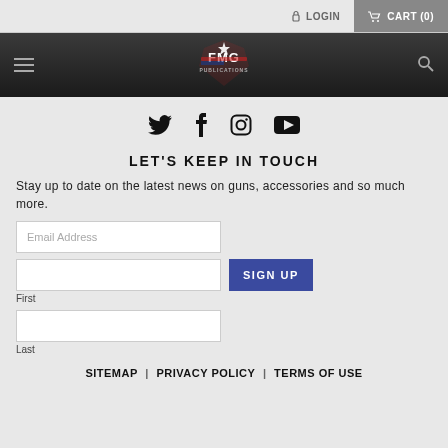LOGIN   CART (0)
[Figure (logo): FMG Publications logo with star and American flag colors]
[Figure (infographic): Social media icons: Twitter, Facebook, Instagram, YouTube]
LET'S KEEP IN TOUCH
Stay up to date on the latest news on guns, accessories and so much more.
Email Address [input field]
First [input field]   SIGN UP [button]
Last [input field]
SITEMAP | PRIVACY POLICY | TERMS OF USE